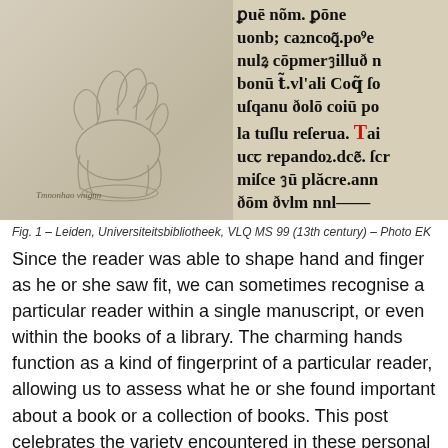[Figure (photo): Photograph of a medieval manuscript page (Leiden, Universiteitsbibliotheek, VLQ MS 99, 13th century). The left half shows a parchment page with a faint pencil sketch of a hand/finger pointer. The right half shows dense Gothic script text in black ink with one red initial letter.]
Fig. 1 – Leiden, Universiteitsbibliotheek, VLQ MS 99 (13th century) – Photo EK
Since the reader was able to shape hand and finger as he or she saw fit, we can sometimes recognise a particular reader within a single manuscript, or even within the books of a library. The charming hands function as a kind of fingerprint of a particular reader, allowing us to assess what he or she found important about a book or a collection of books. This post celebrates the variety encountered in these personal and permanent pointers, from the plain hand to the exotic octopus.